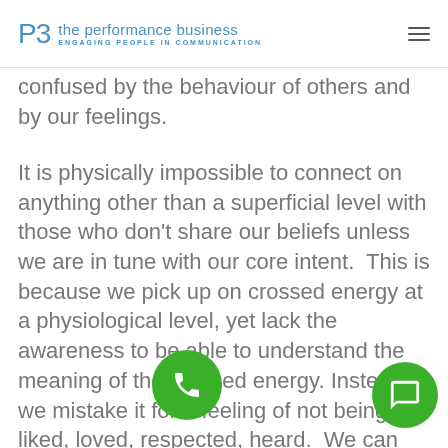PB the performance business ENGAGING PEOPLE IN COMMUNICATION
confused by the behaviour of others and by our feelings.
It is physically impossible to connect on anything other than a superficial level with those who don’t share our beliefs unless we are in tune with our core intent.  This is because we pick up on crossed energy at a physiological level, yet lack the awareness to be able to understand the meaning of the crossed energy.  Instead, we mistake it for a feeling of not being liked, loved, respected, heard.  We can also become ‘bullies’ or ‘pushy’ resorting to barking instructions at p having zero tolerance of beh that we perceive to be lacking.  Or we can